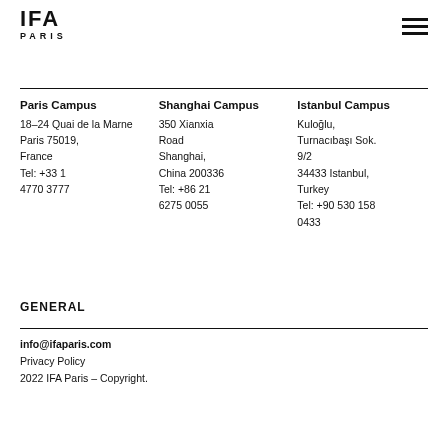[Figure (logo): IFA Paris logo with stylized letters IFA and PARIS text below]
Paris Campus
18–24 Quai de la Marne
Paris 75019, France
Tel: +33 1 4770 3777
Shanghai Campus
350 Xianxia Road
Shanghai, China 200336
Tel: +86 21 6275 0055
Istanbul Campus
Kuloğlu, Turnacıbaşı Sok. 9/2
34433 Istanbul, Turkey
Tel: +90 530 158 0433
GENERAL
info@ifaparis.com
Privacy Policy
2022 IFA Paris – Copyright.